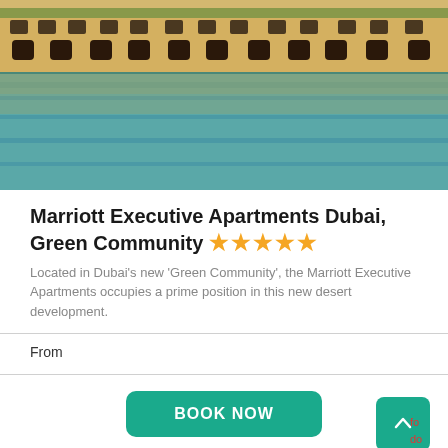[Figure (photo): Waterfront photo of Marriott Executive Apartments Dubai, Green Community, showing yellow/beige buildings with arched windows and palm trees reflected in calm teal-green water]
Marriott Executive Apartments Dubai, Green Community ★★★★★
Located in Dubai's new 'Green Community', the Marriott Executive Apartments occupies a prime position in this new desert development.
From
BOOK NOW